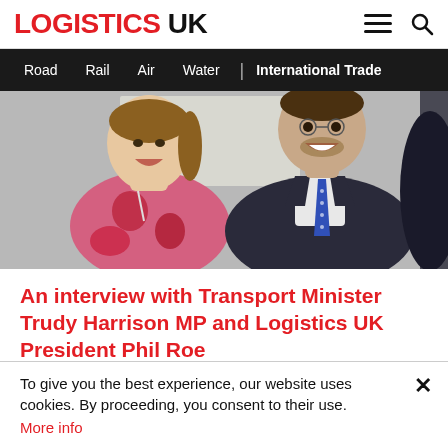LOGISTICS UK
Road   Rail   Air   Water   | International Trade
[Figure (photo): Two people laughing at an event — a woman in a floral top and a man in a dark suit with a blue tie]
An interview with Transport Minister Trudy Harrison MP and Logistics UK President Phil Roe
Last week saw the launch of Generation Logistics, a high-
To give you the best experience, our website uses cookies. By proceeding, you consent to their use. More info